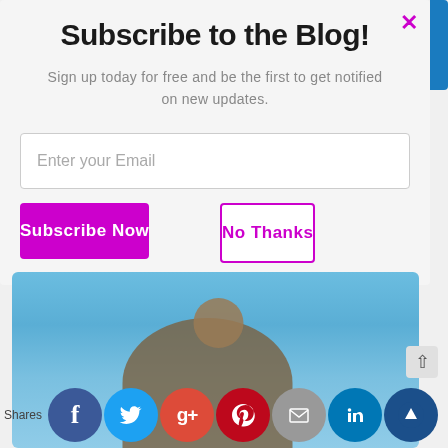Subscribe to the Blog!
Sign up today for free and be the first to get notified on new updates.
Enter your Email
Subscribe Now
No Thanks
[Figure (photo): Person in camouflage gear holding antlers against a blue sky background]
Shares